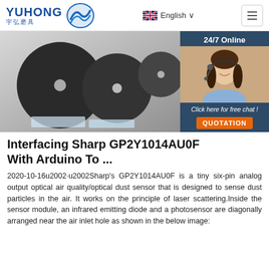YUHONG 宇弘磨具 | English
[Figure (photo): Product photo showing three black circular grinding discs on transparent stands, with a customer service agent overlay on the right showing '24/7 Online', 'Click here for free chat!', and 'QUOTATION' button]
Interfacing Sharp GP2Y1014AU0F With Arduino To ...
2020-10-16u2002·u2002Sharp's GP2Y1014AU0F is a tiny six-pin analog output optical air quality/optical dust sensor that is designed to sense dust particles in the air. It works on the principle of laser scattering.Inside the sensor module, an infrared emitting diode and a photosensor are diagonally arranged near the air inlet hole as shown in the below image: